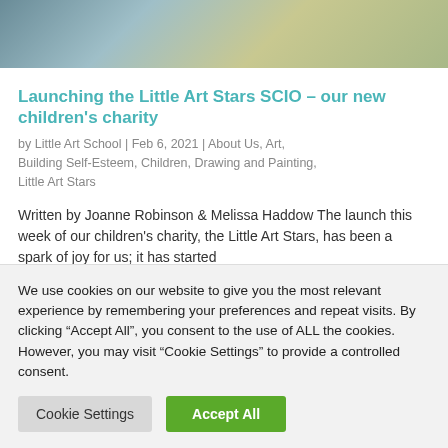[Figure (photo): Top portion of a photo showing children doing art activities at a table, partially cropped]
Launching the Little Art Stars SCIO – our new children's charity
by Little Art School | Feb 6, 2021 | About Us, Art, Building Self-Esteem, Children, Drawing and Painting, Little Art Stars
Written by Joanne Robinson & Melissa Haddow The launch this week of our children's charity, the Little Art Stars, has been a spark of joy for us; it has started
We use cookies on our website to give you the most relevant experience by remembering your preferences and repeat visits. By clicking "Accept All", you consent to the use of ALL the cookies. However, you may visit "Cookie Settings" to provide a controlled consent.